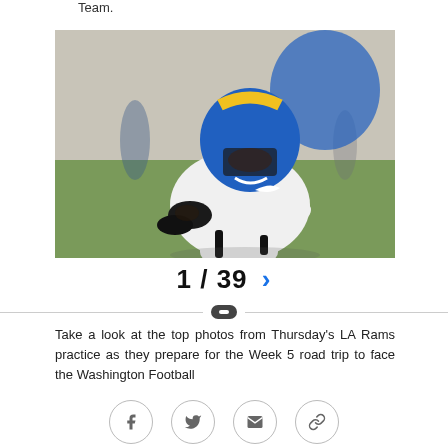Team.
[Figure (photo): LA Rams football player in blue and yellow helmet crouching in a defensive stance during practice on a green field.]
1 / 39 >
Take a look at the top photos from Thursday's LA Rams practice as they prepare for the Week 5 road trip to face the Washington Football Team.